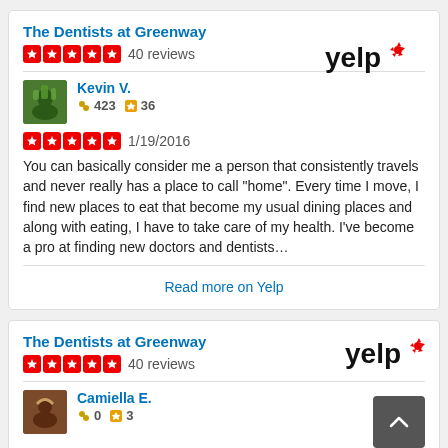The Dentists at Greenway
40 reviews
[Figure (logo): Yelp logo]
Kevin V.
423  36
1/19/2016
You can basically consider me a person that consistently travels and never really has a place to call "home". Every time I move, I find new places to eat that become my usual dining places and along with eating, I have to take care of my health. I've become a pro at finding new doctors and dentists…
Read more on Yelp
The Dentists at Greenway
40 reviews
[Figure (logo): Yelp logo]
Camiella E.
0  3